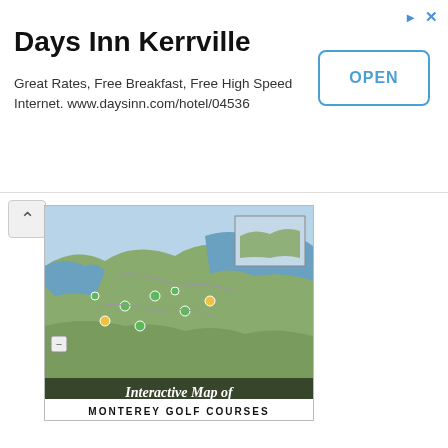Days Inn Kerrville
Great Rates, Free Breakfast, Free High Speed Internet. www.daysinn.com/hotel/04536
OPEN
[Figure (map): Interactive map of Monterey Golf Courses showing coastline and golf course locations marked with icons]
Interactive Map of MONTEREY GOLF COURSES
[Figure (photo): Aerial photograph of the Monterey Peninsula coastline with live web cam feed]
LIVE Web Cam of THE MONTEREY PENINSULA
[Figure (photo): Aerial photograph of a golf course on the Monterey Peninsula with ocean views]